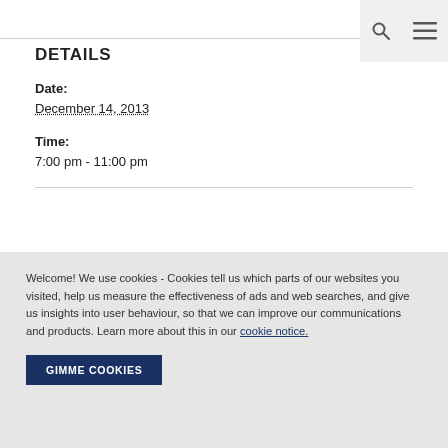DETAILS
Date:
December 14, 2013
Time:
7:00 pm - 11:00 pm
Welcome! We use cookies - Cookies tell us which parts of our websites you visited, help us measure the effectiveness of ads and web searches, and give us insights into user behaviour, so that we can improve our communications and products. Learn more about this in our cookie notice.
GIMME COOKIES